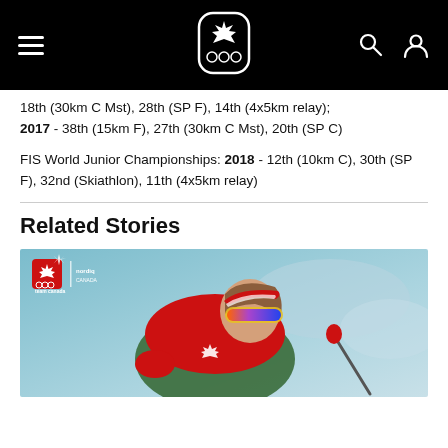Team Canada Olympic header navigation
18th (30km C Mst), 28th (SP F), 14th (4x5km relay); 2017 - 38th (15km F), 27th (30km C Mst), 20th (SP C)
FIS World Junior Championships: 2018 - 12th (10km C), 30th (SP F), 32nd (Skiathlon), 11th (4x5km relay)
Related Stories
[Figure (photo): Female cross-country skier in Canadian red uniform with goggles and ski poles, with Team Canada and Nordiq Canada logos overlay]